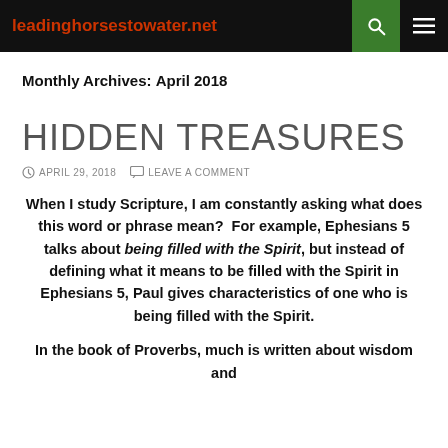leadinghorsestowater.net
Monthly Archives: April 2018
HIDDEN TREASURES
APRIL 29, 2018   LEAVE A COMMENT
When I study Scripture, I am constantly asking what does this word or phrase mean?  For example, Ephesians 5 talks about being filled with the Spirit, but instead of defining what it means to be filled with the Spirit in Ephesians 5, Paul gives characteristics of one who is being filled with the Spirit.
In the book of Proverbs, much is written about wisdom and